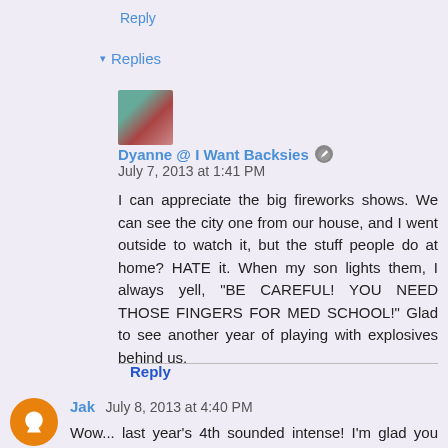Reply
▾ Replies
Dyanne @ I Want Backsies  🖉  July 7, 2013 at 1:41 PM
I can appreciate the big fireworks shows. We can see the city one from our house, and I went outside to watch it, but the stuff people do at home? HATE it. When my son lights them, I always yell, "BE CAREFUL! YOU NEED THOSE FINGERS FOR MED SCHOOL!" Glad to see another year of playing with explosives behind us.
Reply
Jak  July 8, 2013 at 4:40 PM
Wow... last year's 4th sounded intense! I'm glad you made it through (more so the Colonoscopy) and lived to tell the tale! And tell the tale you did... boob sweat and flies and all >.<